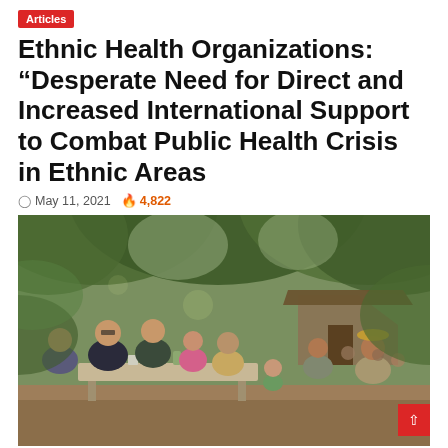Articles
Ethnic Health Organizations: “Desperate Need for Direct and Increased International Support to Combat Public Health Crisis in Ethnic Areas
May 11, 2021  4,822
[Figure (photo): Outdoor medical consultation scene under tree canopy. Health workers in dark clothing attend to villagers including elderly and children seated around a table with medical supplies, in a jungle/forest setting with a thatched structure in background.]